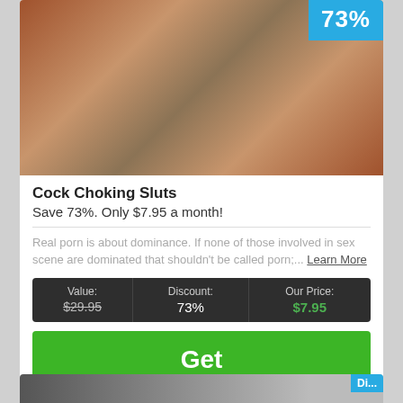[Figure (photo): Promotional product image with two women and a discount badge showing 73% in blue in the upper right corner]
Cock Choking Sluts
Save 73%. Only $7.95 a month!
Real porn is about dominance. If none of those involved in sex scene are dominated that shouldn't be called porn;... Learn More
| Value: | Discount: | Our Price: |
| --- | --- | --- |
| $29.95 | 73% | $7.95 |
Get